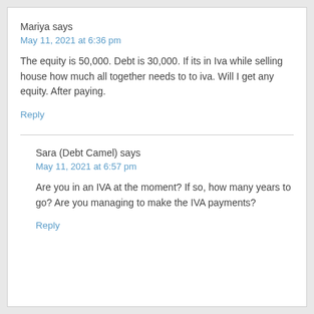Mariya says
May 11, 2021 at 6:36 pm
The equity is 50,000. Debt is 30,000. If its in Iva while selling house how much all together needs to to iva. Will I get any equity. After paying.
Reply
Sara (Debt Camel) says
May 11, 2021 at 6:57 pm
Are you in an IVA at the moment? If so, how many years to go? Are you managing to make the IVA payments?
Reply